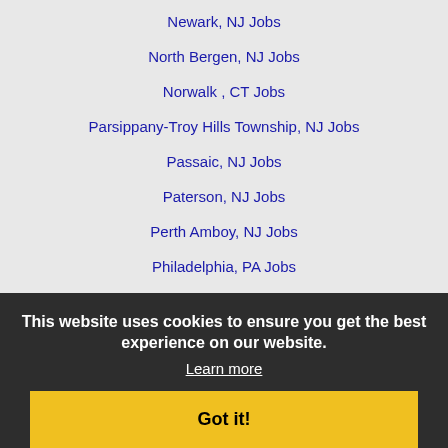Newark, NJ Jobs
North Bergen, NJ Jobs
Norwalk , CT Jobs
Parsippany-Troy Hills Township, NJ Jobs
Passaic, NJ Jobs
Paterson, NJ Jobs
Perth Amboy, NJ Jobs
Philadelphia, PA Jobs
Plainfield, NJ Jobs
Sayreville, NJ Jobs
Scranton, PA Jobs
Stamford, CT Jobs
Stratford, CT Jobs
Toms River, NJ Jobs
Trenton, NJ Jobs
Union, NJ Jobs
Union City, NJ Jobs
Waterbury, CT Jobs
This website uses cookies to ensure you get the best experience on our website.
Learn more
Got it!